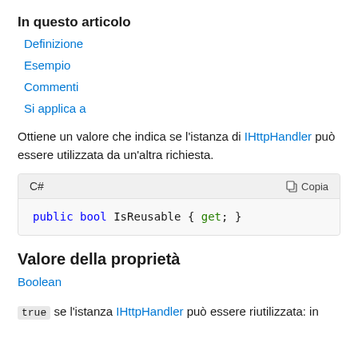In questo articolo
Definizione
Esempio
Commenti
Si applica a
Ottiene un valore che indica se l'istanza di IHttpHandler può essere utilizzata da un'altra richiesta.
[Figure (screenshot): C# code block showing: public bool IsReusable { get; } with a Copy button]
Valore della proprietà
Boolean
true se l'istanza IHttpHandler può essere riutilizzata: in